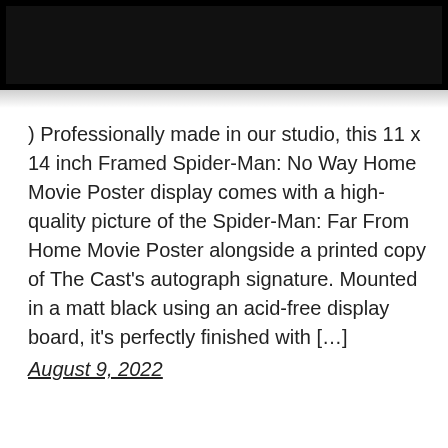[Figure (photo): Framed movie poster displayed in a black frame, partially visible at the top of the page showing the upper portion of the frame against a white background.]
) Professionally made in our studio, this 11 x 14 inch Framed Spider-Man: No Way Home Movie Poster display comes with a high-quality picture of the Spider-Man: Far From Home Movie Poster alongside a printed copy of The Cast’s autograph signature. Mounted in a matt black using an acid-free display board, it’s perfectly finished with […]
August 9, 2022